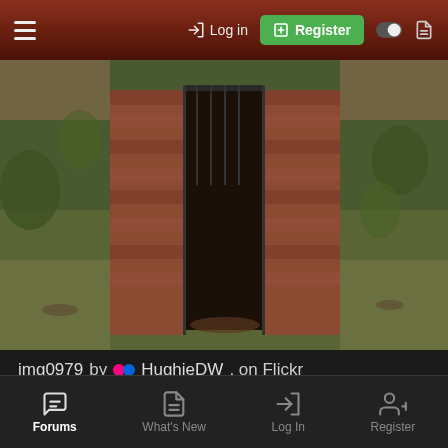☰  → Log in  [+] Register  ◐  🗋
[Figure (photo): Photo of crumbling brick structure with overgrown vegetation and dark entrance cavity, taken outdoors]
img0979 by HughieDW, on Flickr
[Figure (photo): Partially visible photo of stone or brick ruins covered with ivy and grass, cropped at bottom]
Forums  What's New  Log In  Register